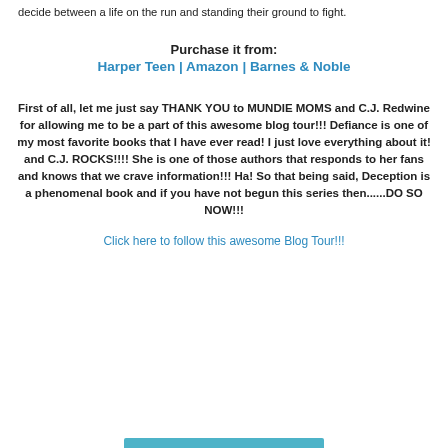decide between a life on the run and standing their ground to fight.
Purchase it from:
Harper Teen | Amazon | Barnes & Noble
First of all, let me just say THANK YOU to MUNDIE MOMS and C.J. Redwine for allowing me to be a part of this awesome blog tour!!! Defiance is one of my most favorite books that I have ever read! I just love everything about it! and C.J. ROCKS!!!! She is one of those authors that responds to her fans and knows that we crave information!!! Ha! So that being said, Deception is a phenomenal book and if you have not begun this series then......DO SO NOW!!!
Click here to follow this awesome Blog Tour!!!